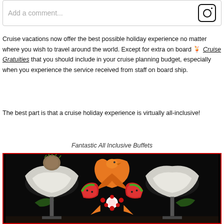Add a comment...
Cruise vacations now offer the best possible holiday experience no matter where you wish to travel around the world. Except for extra on board 🍹 Cruise Gratuities that you should include in your cruise planning budget, especially when you experience the service received from staff on board ship.
The best part is that a cruise holiday experience is virtually all-inclusive!
Fantastic All Inclusive Buffets
[Figure (photo): A buffet table display with elaborate fruit carvings including a watermelon carved into a bird/swan shape and other decorative food arrangements against a dark background.]